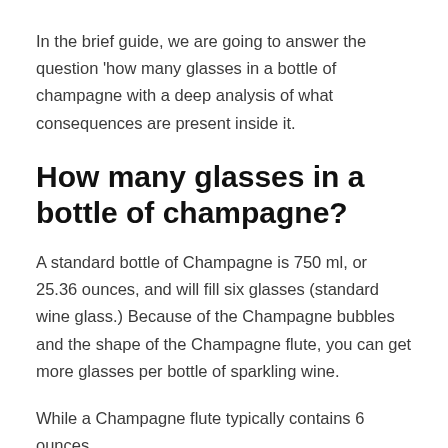In the brief guide, we are going to answer the question 'how many glasses in a bottle of champagne with a deep analysis of what consequences are present inside it.
How many glasses in a bottle of champagne?
A standard bottle of Champagne is 750 ml, or 25.36 ounces, and will fill six glasses (standard wine glass.) Because of the Champagne bubbles and the shape of the Champagne flute, you can get more glasses per bottle of sparkling wine.
While a Champagne flute typically contains 6 ounces,